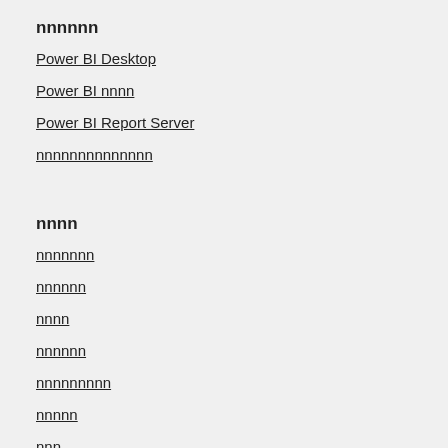nnnnnn
Power BI Desktop
Power BI nnnn
Power BI Report Server
nnnnnnnnnnnnnn
nnnn
nnnnnnn
nnnnnn
nnnn
nnnnnn
nnnnnnnnn
nnnnn
nnn